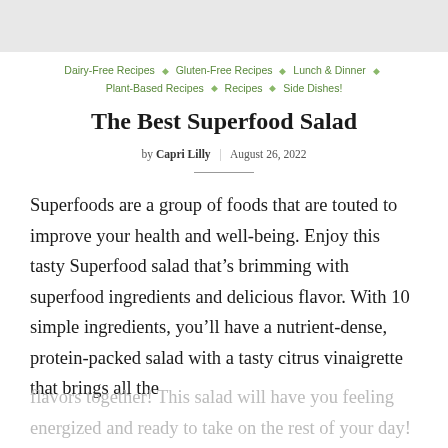[Figure (other): Gray banner/header bar at top of page]
Dairy-Free Recipes ◇ Gluten-Free Recipes ◇ Lunch & Dinner ◇ Plant-Based Recipes ◇ Recipes ◇ Side Dishes!
The Best Superfood Salad
by Capri Lilly | August 26, 2022
Superfoods are a group of foods that are touted to improve your health and well-being. Enjoy this tasty Superfood salad that's brimming with superfood ingredients and delicious flavor. With 10 simple ingredients, you'll have a nutrient-dense, protein-packed salad with a tasty citrus vinaigrette that brings all the flavors together! This salad will have you feeling energized and ready to take on the rest of your day!